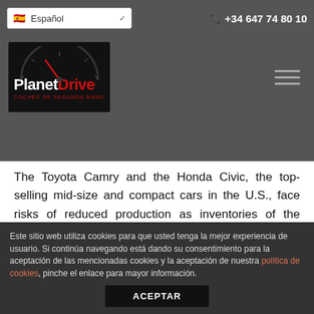Español | +34 647 74 80 10
[Figure (logo): PlanetDrive logo — coches de segunda mano — on dark background with hamburger menu icon]
The Toyota Camry and the Honda Civic, the top-selling mid-size and compact cars in the U.S., face risks of reduced production as inventories of the models rise, an RBC Capital Markets report said.
Toyota's Camry exceeded its seasonal historical average inventory by more than 15 days supply in June and Honda carried about 25 days more Civics than usual, Joseph Spak, a New York-based analyst for RBC, said in today's report. Camry and Civic were the only models identified as at risk for reduced
Este sitio web utiliza cookies para que usted tenga la mejor experiencia de usuario. Si continúa navegando está dando su consentimiento para la aceptación de las mencionadas cookies y la aceptación de nuestra política de cookies, pinche el enlace para mayor información.